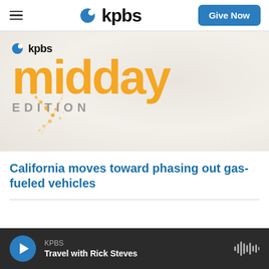kpbs | Give Now
[Figure (logo): KPBS Midday Edition logo on light beige background with orange scatter graphic dots. Large orange 'midday' text, black 'kpbs' logo, grey 'EDITION' text below.]
California moves toward phasing out gas-fueled vehicles
KPBS | Travel with Rick Steves